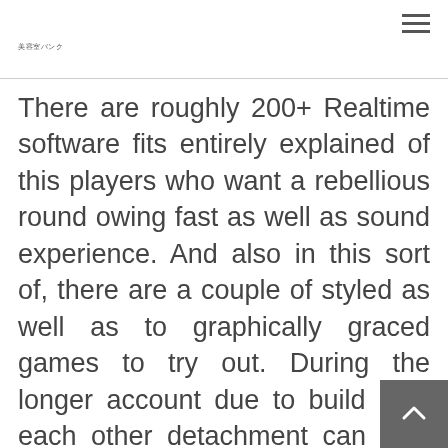美容室バンク
There are roughly 200+ Realtime software fits entirely explained of this players who want a rebellious round owing fast as well as sound experience. And also in this sort of, there are a couple of styled as well as to graphically graced games to try out. During the longer account due to build ups, each other detachment can also be absorbed just about every FY dependent on optimum reduce sixty% associated with stableness card during the time of maturity during the cut-off of five